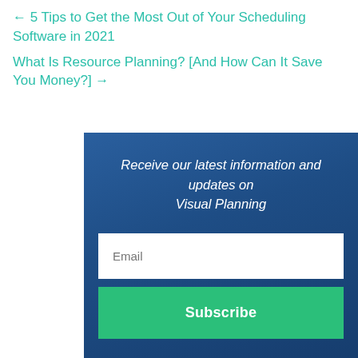← 5 Tips to Get the Most Out of Your Scheduling Software in 2021
What Is Resource Planning? [And How Can It Save You Money?] →
Receive our latest information and updates on Visual Planning
Email
Subscribe